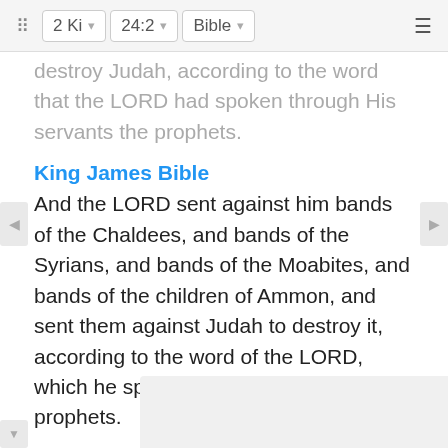2 Ki  24:2  Bible
destroy Judah, according to the word that the LORD had spoken through His servants the prophets.
King James Bible
And the LORD sent against him bands of the Chaldees, and bands of the Syrians, and bands of the Moabites, and bands of the children of Ammon, and sent them against Judah to destroy it, according to the word of the LORD, which he spake by his servants the prophets.
New King James Version
And the LORD sent against him raiding bands of Chaldeans, bands of Syrians, bands of Moabites, and bands of the people of Ammon; He sent them against Judah to destroy it, according to the word of the LORD, which He had spoken by His servants the prophets.